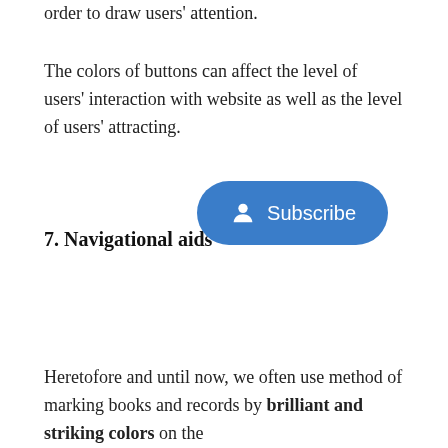order to draw users' attention.
The colors of buttons can affect the level of users' interaction with website as well as the level of users' attracting.
7. Navigational aids
[Figure (screenshot): A blue rounded Subscribe button with a person/user icon on the right side of the page]
Heretofore and until now, we often use method of marking books and records by brilliant and striking colors on the